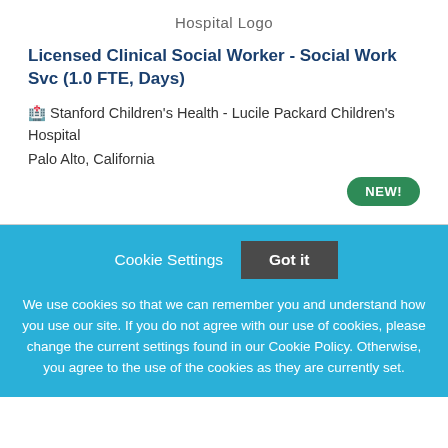[Figure (logo): Hospital Logo placeholder text centered at top]
Licensed Clinical Social Worker - Social Work Svc (1.0 FTE, Days)
🏥 Stanford Children's Health - Lucile Packard Children's Hospital
Palo Alto, California
NEW!
Cookie Settings  Got it
We use cookies so that we can remember you and understand how you use our site. If you do not agree with our use of cookies, please change the current settings found in our Cookie Policy. Otherwise, you agree to the use of the cookies as they are currently set.